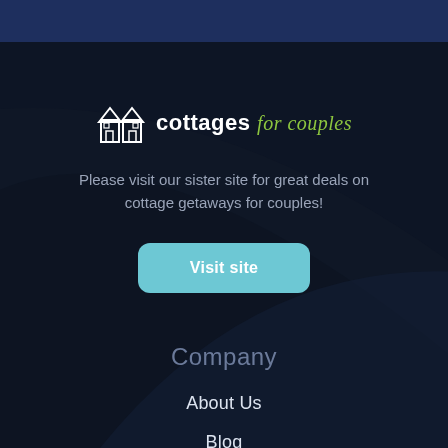[Figure (logo): Cottages for Couples logo with house icon, white bold text 'cottages' and green italic script 'for couples']
Please visit our sister site for great deals on cottage getaways for couples!
Visit site
Company
About Us
Blog
Contact